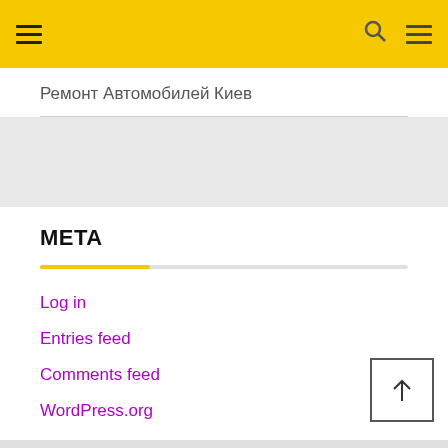Navigation header with hamburger menu, search icon, and menu icon on yellow background
Ремонт Автомобилей Киев
META
Log in
Entries feed
Comments feed
WordPress.org